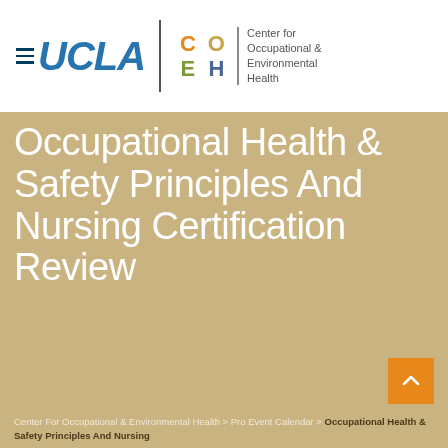[Figure (logo): UCLA COEH logo — UCLA wordmark in blue with horizontal lines, vertical divider, CO/EH block letters in orange/tan/green/blue, and 'Center for Occupational & Environmental Health' text]
Occupational Health & Safety Principles And Nursing Certification Review
Center For Occupational & Environmental Health > Pro Event Calendar > Occupational Health & Safety Principles And Nursing